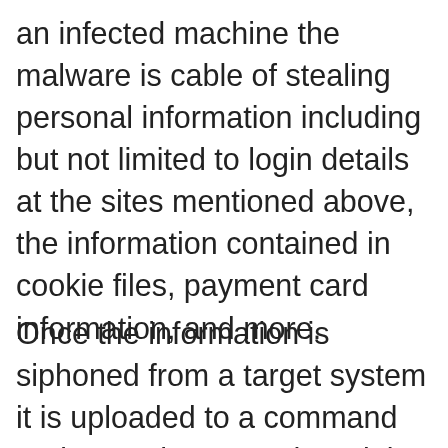an infected machine the malware is cable of stealing personal information including but not limited to login details at the sites mentioned above, the information contained in cookie files, payment card information, and more.
Once the information is siphoned from a target system it is uploaded to a command and control server. There it is aggregated with the data from other pilfered accounts to be sold on the Dark Web. More...